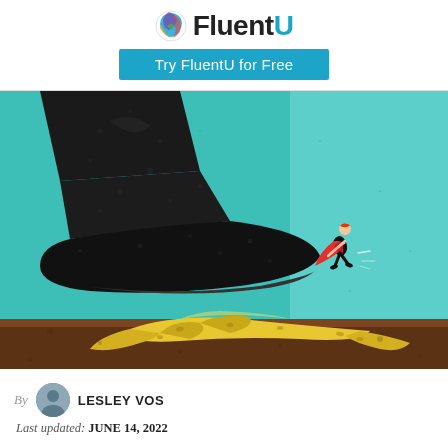FluentU — Try FluentU for Free
[Figure (illustration): Illustration of a giant black boot about to step on a banana peel, while a tiny superhero woman in a red cape tries to stop it. Teal and brown background.]
By LESLEY VOS
Last updated: JUNE 14, 2022